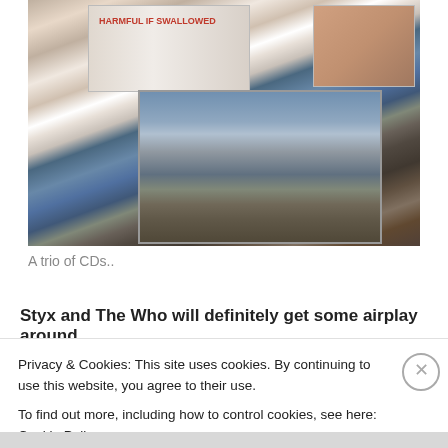[Figure (photo): A photo showing a trio of CD cases/albums spread out, including what appears to be 'Harmful If Swallowed' and The Who's 'Who's Next' album covers, photographed from above on a surface.]
A trio of CDs..
Styx and The Who will definitely get some airplay around
Privacy & Cookies: This site uses cookies. By continuing to use this website, you agree to their use.
To find out more, including how to control cookies, see here: Cookie Policy
Close and accept